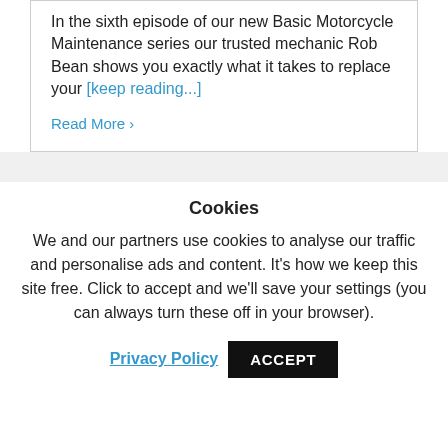In the sixth episode of our new Basic Motorcycle Maintenance series our trusted mechanic Rob Bean shows you exactly what it takes to replace your [keep reading...]
Read More >
Cookies
We and our partners use cookies to analyse our traffic and personalise ads and content. It's how we keep this site free. Click to accept and we'll save your settings (you can always turn these off in your browser).
Privacy Policy   ACCEPT